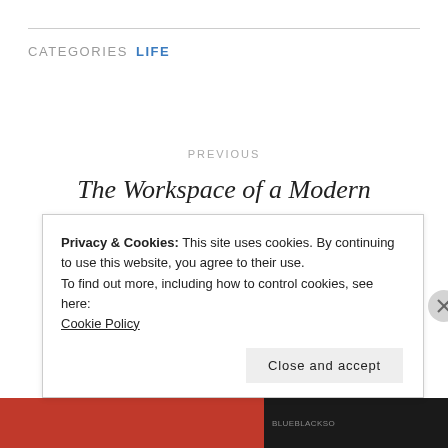CATEGORIES  LIFE
PREVIOUS
The Workspace of a Modern Programmer
NEXT
Privacy & Cookies: This site uses cookies. By continuing to use this website, you agree to their use.
To find out more, including how to control cookies, see here: Cookie Policy
Close and accept